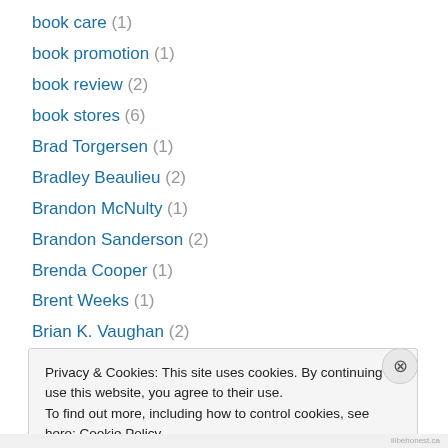book care (1)
book promotion (1)
book review (2)
book stores (6)
Brad Torgersen (1)
Bradley Beaulieu (2)
Brandon McNulty (1)
Brandon Sanderson (2)
Brenda Cooper (1)
Brent Weeks (1)
Brian K. Vaughan (2)
Brian Stableford (2)
Brit Mandelo (1)
Privacy & Cookies: This site uses cookies. By continuing to use this website, you agree to their use. To find out more, including how to control cookies, see here: Cookie Policy
Close and accept